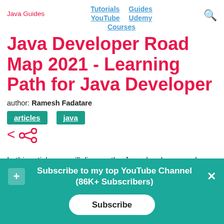Java Guides | Tutorials | Guides | YouTube | Udemy | Courses
Java Developer Road Map 2021 - Learning Path for Java Developer
author: Ramesh Fadatare
articles
java
In this article, we will discuss the Java developer road
Subscribe to my top YouTube Channel (86K+ Subscribers) Subscribe